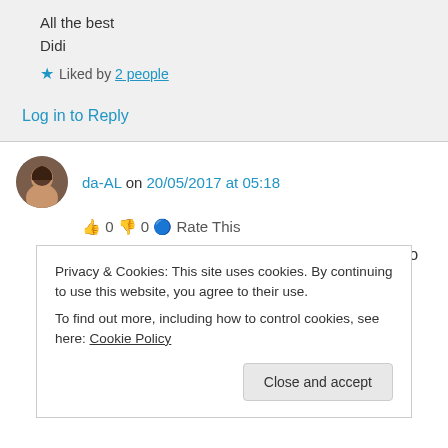All the best
Didi
Liked by 2 people
Log in to Reply
da-AL on 20/05/2017 at 05:18
👍 0 👎 0 ℹ Rate This
thanks for visiting my blog – so glad it led me to
Privacy & Cookies: This site uses cookies. By continuing to use this website, you agree to their use.
To find out more, including how to control cookies, see here: Cookie Policy
Close and accept